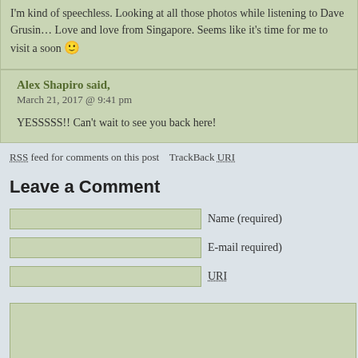I'm kind of speechless. Looking at all those photos while listening to Dave Grusin… Love and love from Singapore. Seems like it's time for me to visit a soon 🙂
Alex Shapiro said,
March 21, 2017 @ 9:41 pm

YESSSSS!! Can't wait to see you back here!
RSS feed for comments on this post   TrackBack URI
Leave a Comment
Name (required)
E-mail required)
URI